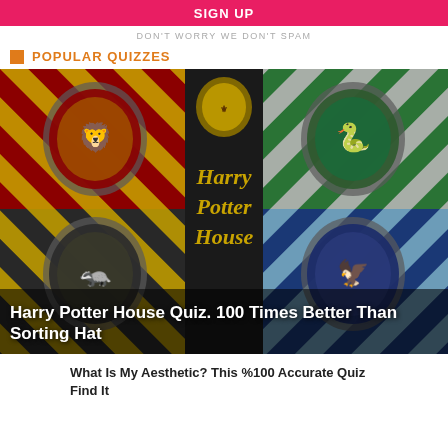SIGN UP
DON'T WORRY WE DON'T SPAM
POPULAR QUIZZES
[Figure (photo): Harry Potter House Quiz image showing Gryffindor, Slytherin, Hufflepuff, and Ravenclaw house crests with Harry Potter House text in center on dark background]
Harry Potter House Quiz. 100 Times Better Than Sorting Hat
What Is My Aesthetic? This %100 Accurate Quiz Find It